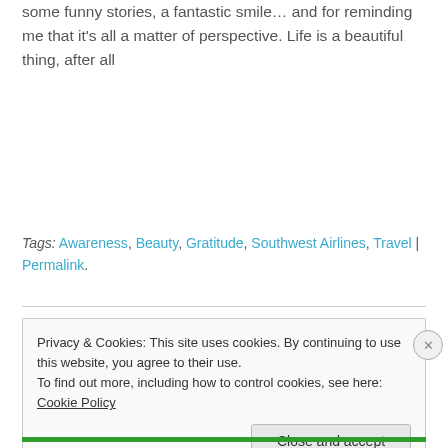some funny stories, a fantastic smile… and for reminding me that it's all a matter of perspective. Life is a beautiful thing, after all
Tags: Awareness, Beauty, Gratitude, Southwest Airlines, Travel | Permalink.
Privacy & Cookies: This site uses cookies. By continuing to use this website, you agree to their use.
To find out more, including how to control cookies, see here: Cookie Policy